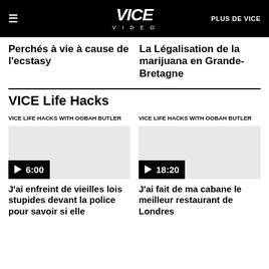VICE VIDEO | PLUS DE VICE
Perchés à vie à cause de l'ecstasy
La Légalisation de la marijuana en Grande-Bretagne
VICE Life Hacks
VICE LIFE HACKS WITH OOBAH BUTLER
[Figure (other): Video thumbnail with play button showing 6:00 duration]
VICE LIFE HACKS WITH OOBAH BUTLER
[Figure (other): Video thumbnail with play button showing 18:20 duration]
J'ai enfreint de vieilles lois stupides devant la police pour savoir si elle
J'ai fait de ma cabane le meilleur restaurant de Londres